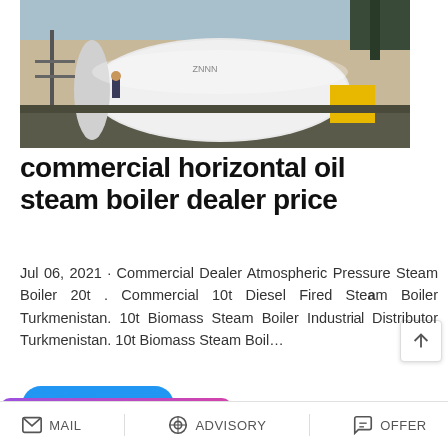[Figure (photo): Outdoor industrial installation of a large horizontal steam boiler being assembled, with workers and equipment visible in daylight.]
commercial horizontal oil steam boiler dealer price
Jul 06, 2021 · Commercial Dealer Atmospheric Pressure Steam Boiler 20t . Commercial 10t Diesel Fired Steam Boiler Turkmenistan. 10t Biomass Steam Boiler Industrial Distributor Turkmenistan. 10t Biomass Steam Boil…
READ MORE
Save Stickers on WhatsApp
MAIL   ADVISORY   OFFER